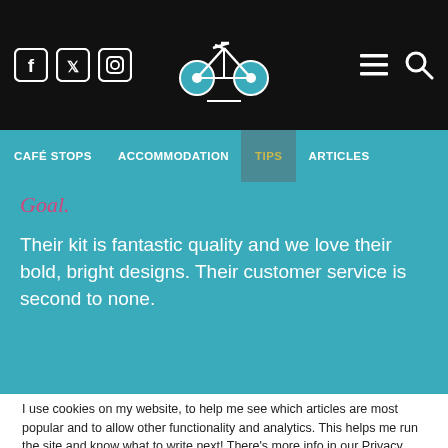Navigation header with social icons (Facebook, Twitter, Instagram), bicycle logo, menu and search icons
CAFÉ STOPS | ACCOMMODATION | TIPS | ARTICLES
Goal.
Their kit is fantastic quality and we love their bold, bright designs. Their customer service is second to none.
I use cookies on my website, to help me see which articles are most popular and to allow other functionality and analytics. This helps me run the site and know what to write next! There's more info in our Privacy Policy. If you're okay with this, please click Accept All (if not, click the Cookie Settings). Either way, you can change your settings at any time. Thanks! Clare
Cookie Settings | Accept All